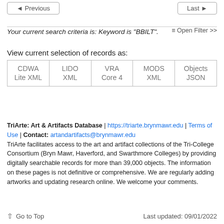◄ Previous    Last ►
Your current search criteria is: Keyword is "BBILT".
View current selection of records as:
| CDWA Lite XML | LIDO XML | VRA Core 4 | MODS XML | Objects JSON |
TriArte: Art & Artifacts Database | https://triarte.brynmawr.edu | Terms of Use | Contact: artandartifacts@brynmawr.edu
TriArte facilitates access to the art and artifact collections of the Tri-College Consortium (Bryn Mawr, Haverford, and Swarthmore Colleges) by providing digitally searchable records for more than 39,000 objects. The information on these pages is not definitive or comprehensive. We are regularly adding artworks and updating research online. We welcome your comments.
↑ Go to Top    Last updated: 09/01/2022